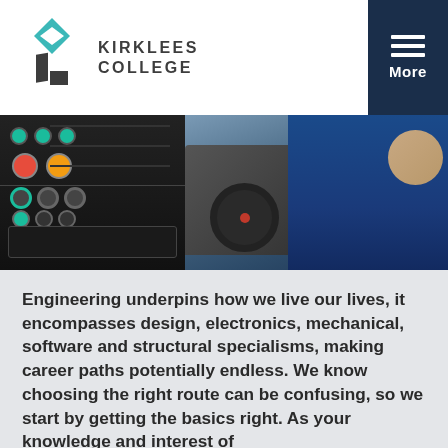KIRKLEES COLLEGE
[Figure (photo): Engineering workshop photo: left side shows dark control panel with buttons and knobs; right side shows a person in blue overalls operating a lathe machine with a large handwheel.]
Engineering underpins how we live our lives, it encompasses design, electronics, mechanical, software and structural specialisms, making career paths potentially endless. We know choosing the right route can be confusing, so we start by getting the basics right. As your knowledge and interest of
By using this site you are agreeing to our use of cookies to provide you with the best experience and functionality Privacy Policy
Continue